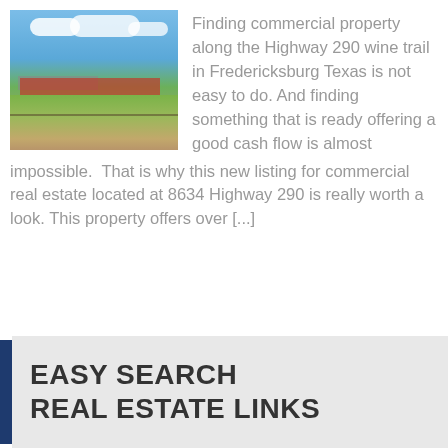[Figure (photo): Outdoor photo of a commercial building/warehouse with red roof visible in the background, green grass field in the foreground, blue sky with white clouds above, and a fence line.]
Finding commercial property along the Highway 290 wine trail in Fredericksburg Texas is not easy to do. And finding something that is ready offering a good cash flow is almost impossible. That is why this new listing for commercial real estate located at 8634 Highway 290 is really worth a look. This property offers over [...]
EASY SEARCH
REAL ESTATE LINKS